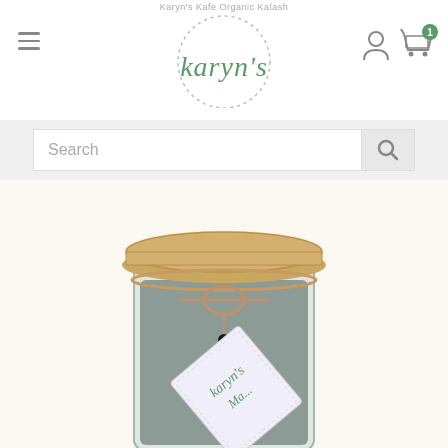Karyn's Kafe Organic Kalash
[Figure (logo): Karyn's logo with dotted circular border and green italic text]
[Figure (screenshot): Search bar with magnifying glass icon on gray background]
[Figure (photo): Glass jar with gold metal lid and Karyn's Ma... label tag tied with twine, containing dark powder, on cream background]